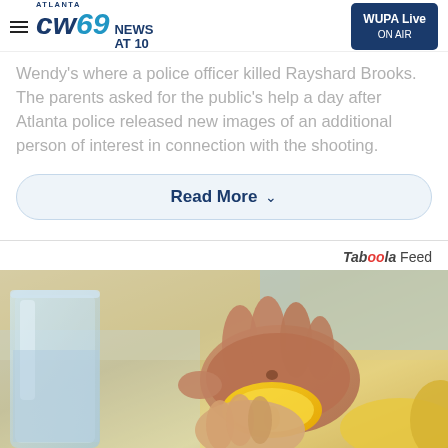Atlanta CW69 News At 10 | WUPA Live ON AIR
Wendy's where a police officer killed Rayshard Brooks. The parents asked for the public's help a day after Atlanta police released new images of an additional person of interest in connection with the shooting.
Read More
Taboola Feed
[Figure (photo): Close-up photo of hands holding and squeezing a yellow/orange fruit slice, with a glass of water visible on the left and blurred colorful background]